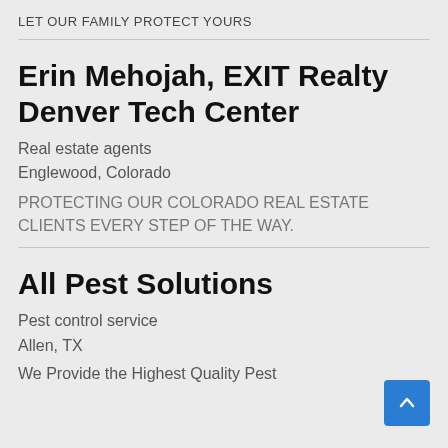LET OUR FAMILY PROTECT YOURS
Erin Mehojah, EXIT Realty Denver Tech Center
Real estate agents
Englewood, Colorado
PROTECTING OUR COLORADO REAL ESTATE CLIENTS EVERY STEP OF THE WAY.
All Pest Solutions
Pest control service
Allen, TX
We Provide the Highest Quality Pest